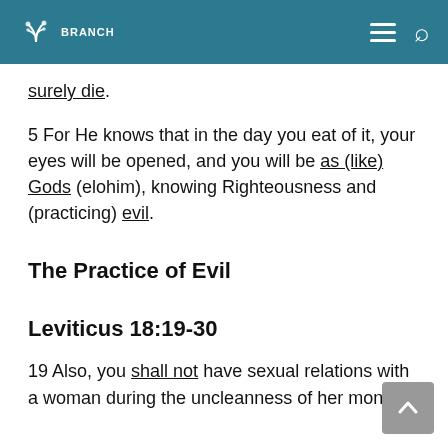BRANCH
surely die.
5 For He knows that in the day you eat of it, your eyes will be opened, and you will be as (like) Gods (elohim), knowing Righteousness and (practicing) evil.
The Practice of Evil
Leviticus 18:19-30
19 Also, you shall not have sexual relations with a woman during the uncleanness of her monthly